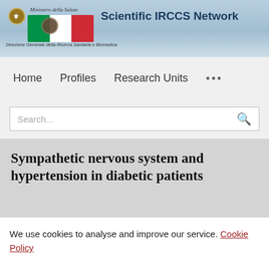[Figure (logo): Italian Ministry of Health logo with Italian flag and eagle emblem, labeled 'Ministero della Salute']
Scientific IRCCS Network
Direzione Generale della Ricerca Sanitaria e Biomedica
Home   Profiles   Research Units   ...
Search...
Sympathetic nervous system and hypertension in diabetic patients
We use cookies to analyse and improve our service. Cookie Policy